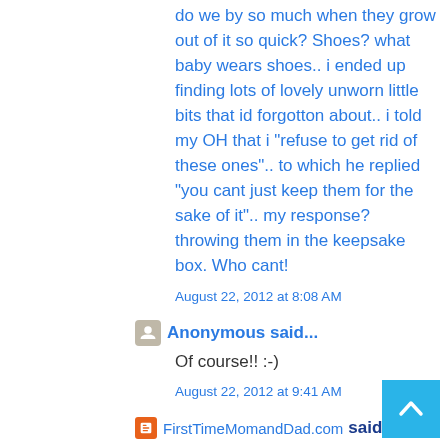do we by so much when they grow out of it so quick? Shoes? what baby wears shoes.. i ended up finding lots of lovely unworn little bits that id forgotton about.. i told my OH that i "refuse to get rid of these ones".. to which he replied "you cant just keep them for the sake of it".. my response? throwing them in the keepsake box. Who cant!
August 22, 2012 at 8:08 AM
Anonymous said...
Of course!! :-)
August 22, 2012 at 9:41 AM
FirstTimeMomandDad.com said...
Sweet!